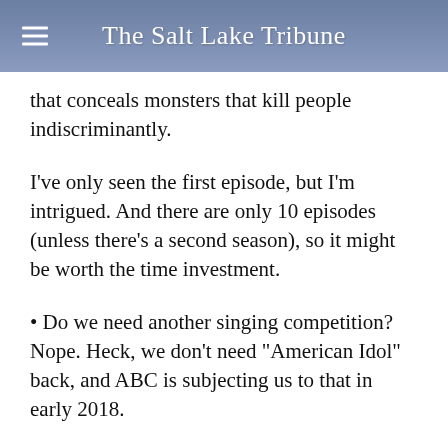The Salt Lake Tribune
that conceals monsters that kill people indiscriminately.
I've only seen the first episode, but I'm intrigued. And there are only 10 episodes (unless there's a second season), so it might be worth the time investment.
• Do we need another singing competition? Nope. Heck, we don't need "American Idol" back, and ABC is subjecting us to that in early 2018.
So do we need "Boy Band" (7 p.m., ABC/Ch. 4)? Nah.